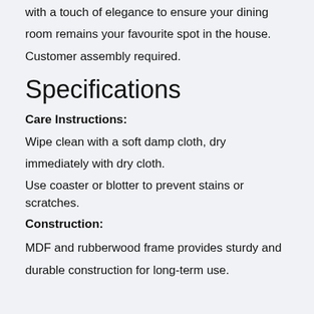with a touch of elegance to ensure your dining room remains your favourite spot in the house. Customer assembly required.
Specifications
Care Instructions:
Wipe clean with a soft damp cloth, dry immediately with dry cloth.
Use coaster or blotter to prevent stains or scratches.
Construction:
MDF and rubberwood frame provides sturdy and durable construction for long-term use.